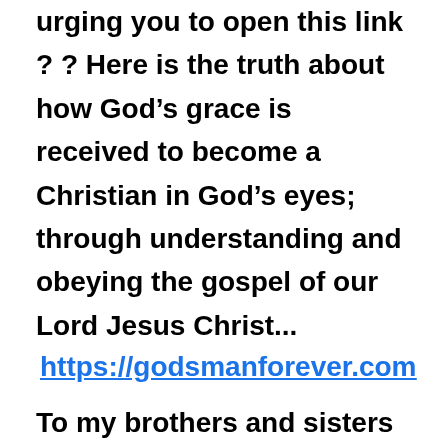urging you to open this link ? ?  Here is the truth about how God’s grace is received to become a Christian in God’s eyes; through understanding and obeying the gospel of our Lord Jesus Christ...
https://godsmanforever.com
To my brothers and sisters in Christ, please feel free to share this message of the cross with those in need...